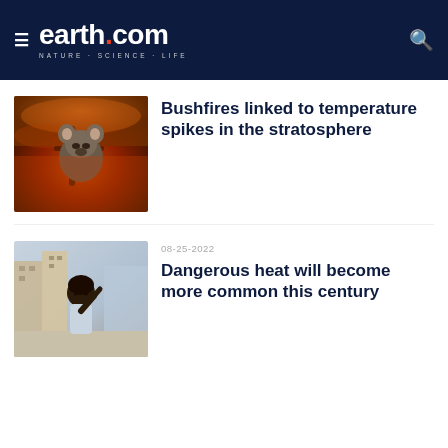earth.com · NATURE · SCIENCE · LIFE
[Figure (photo): Koala bear in a tree against an orange smoky bushfire background]
Bushfires linked to temperature spikes in the stratosphere
[Figure (photo): Young woman wiping sweat from forehead on a hot day in a city street]
08-25-2022
Dangerous heat will become more common this century